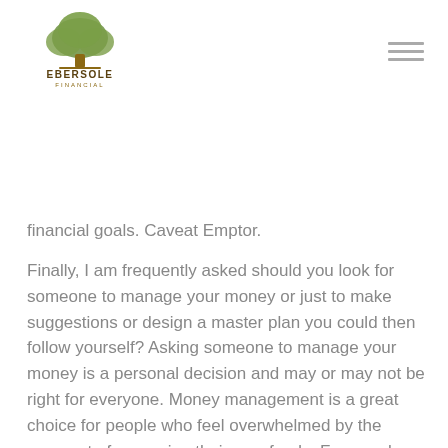[Figure (logo): Ebersole Financial logo — a green tree above the text EBERSOLE FINANCIAL]
financial goals. Caveat Emptor.
Finally, I am frequently asked should you look for someone to manage your money or just to make suggestions or design a master plan you could then follow yourself? Asking someone to manage your money is a personal decision and may or may not be right for everyone. Money management is a great choice for people who feel overwhelmed by the prospect of managing their own funds. For people who have a basic understanding of investments and only need periodic help considering new ideas or rebalancing their portfolio, having a different type of relationship might make more